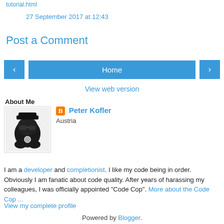tutorial.html
27 September 2017 at 12:43
Post a Comment
‹  Home  ›  View web version
About Me
Peter Kofler – Austria
I am a developer and completionist. I like my code being in order. Obviously I am fanatic about code quality. After years of harassing my colleagues, I was officially appointed "Code Cop". More about the Code Cop ...
View my complete profile
Powered by Blogger.